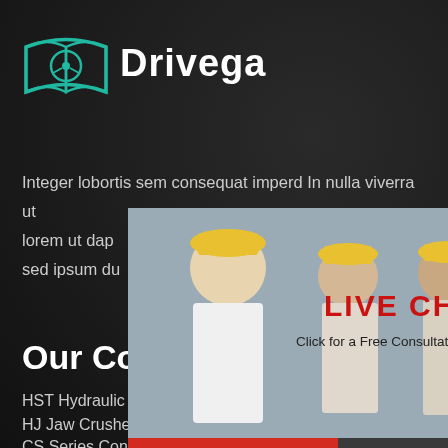[Figure (logo): Drivega logo with open book and steering wheel icon in teal color]
Drivega
Integer lobortis sem consequat imperd In nulla viverra ut lorem ut dap   iet condime sed ipsum du   hour online
Our Cour
HST Hydraulic Cone Crusher
HJ Jaw Crusher
CS Series Cone Crusher
[Figure (screenshot): Live chat popup overlay showing workers in hard hats, LIVE CHAT heading in red, Click for a Free Consultation text, Chat now red button and Chat later dark button, close X circle button]
[Figure (screenshot): Right side panel showing mining/crushing machine on blue background with Click me to chat>> button, Enquiry section with dashed line and partial email address]